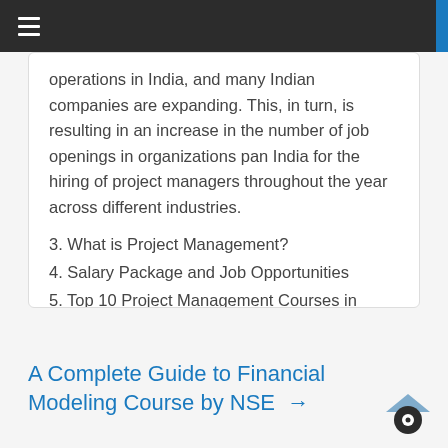☰
operations in India, and many Indian companies are expanding. This, in turn, is resulting in an increase in the number of job openings in organizations pan India for the hiring of project managers throughout the year across different industries.
3. What is Project Management?
4. Salary Package and Job Opportunities
5. Top 10 Project Management Courses in Delhi
6. Conclusion
A Complete Guide to Financial Modeling Course by NSE →